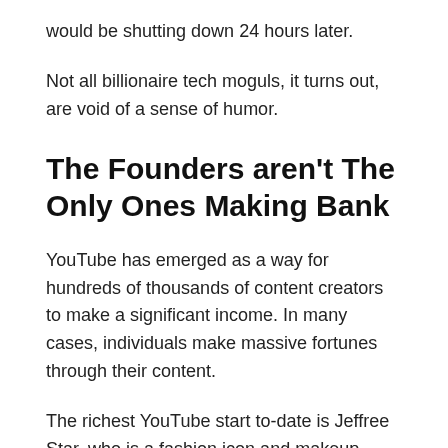would be shutting down 24 hours later.
Not all billionaire tech moguls, it turns out, are void of a sense of humor.
The Founders aren't The Only Ones Making Bank
YouTube has emerged as a way for hundreds of thousands of content creators to make a significant income. In many cases, individuals make massive fortunes through their content.
The richest YouTube start to-date is Jeffree Star, who is a fashion icon and makeup mogul as a result of his content on YouTube. Many people enhance their existing fame through YouTube, but Star is an example of one who rose the ranks